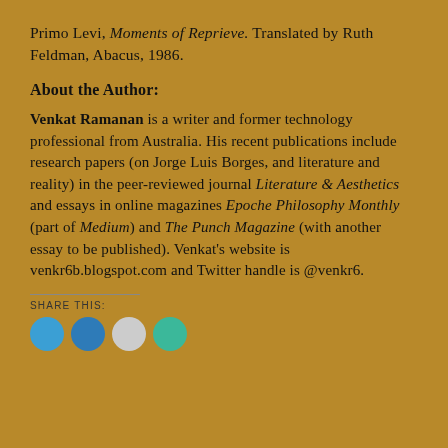Primo Levi, Moments of Reprieve. Translated by Ruth Feldman, Abacus, 1986.
About the Author:
Venkat Ramanan is a writer and former technology professional from Australia. His recent publications include research papers (on Jorge Luis Borges, and literature and reality) in the peer-reviewed journal Literature & Aesthetics and essays in online magazines Epoche Philosophy Monthly (part of Medium) and The Punch Magazine (with another essay to be published). Venkat's website is venkr6b.blogspot.com and Twitter handle is @venkr6.
SHARE THIS: